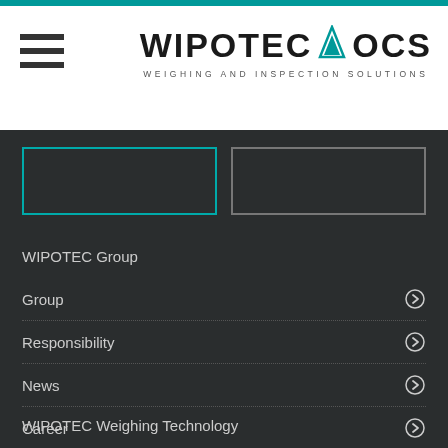WIPOTEC OCS — WEIGHING AND INSPECTION SOLUTIONS
[Figure (logo): WIPOTEC OCS logo with triangle icon and subtitle WEIGHING AND INSPECTION SOLUTIONS]
WIPOTEC Group
Group
Responsibility
News
Career
Contact
WIPOTEC Weighing Technology